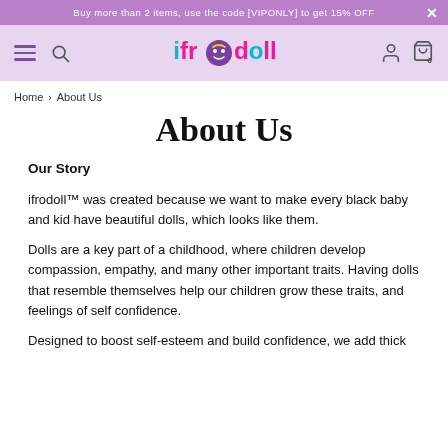Buy more than 2 items, use the code [VIPONLY] to get 15% OFF  ×
[Figure (logo): ifrodoll logo with colorful text — cyan 'i', pink 'frodoll' letters, cartoon face icon replacing the 'o', yellow dot on the 'i']
Home › About Us
About Us
Our Story
ifrodoll™ was created because we want to make every black baby and kid have beautiful dolls, which looks like them.
Dolls are a key part of a childhood, where children develop compassion, empathy, and many other important traits. Having dolls that resemble themselves help our children grow these traits, and feelings of self confidence.
Designed to boost self-esteem and build confidence, we add thick